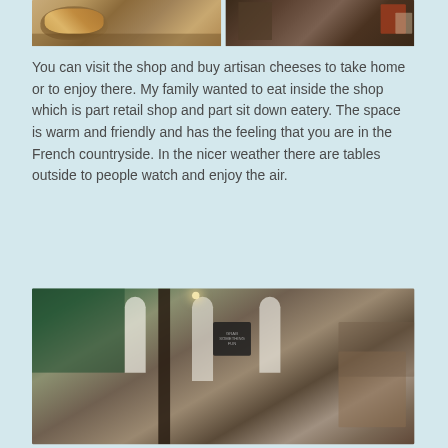[Figure (photo): Two side-by-side photos at top: left shows a basket of baked goods/pastries in a shop; right shows shelving and items in what appears to be a retail shop interior.]
You can visit the shop and buy artisan cheeses to take home or to enjoy there. My family wanted to eat inside the shop which is part retail shop and part sit down eatery. The space is warm and friendly and has the feeling that you are in the French countryside. In the nicer weather there are tables outside to people watch and enjoy the air.
[Figure (photo): Interior photo of a shop with white shelving, arched details, green walls, hanging lights, and various products on display.]